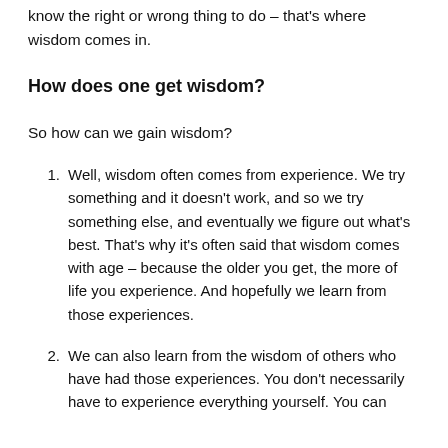know the right or wrong thing to do – that's where wisdom comes in.
How does one get wisdom?
So how can we gain wisdom?
Well, wisdom often comes from experience. We try something and it doesn't work, and so we try something else, and eventually we figure out what's best. That's why it's often said that wisdom comes with age – because the older you get, the more of life you experience. And hopefully we learn from those experiences.
We can also learn from the wisdom of others who have had those experiences. You don't necessarily have to experience everything yourself. You can